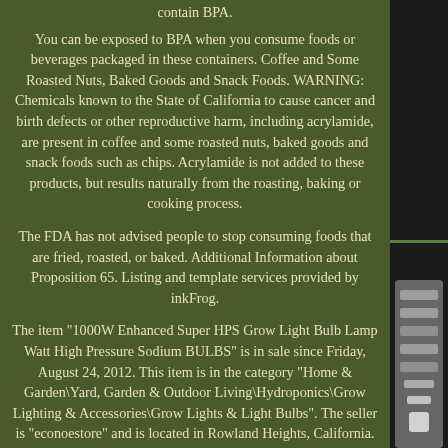contain BPA.
You can be exposed to BPA when you consume foods or beverages packaged in these containers. Coffee and Some Roasted Nuts, Baked Goods and Snack Foods. WARNING: Chemicals known to the State of California to cause cancer and birth defects or other reproductive harm, including acrylamide, are present in coffee and some roasted nuts, baked goods and snack foods such as chips. Acrylamide is not added to these products, but results naturally from the roasting, baking or cooking process.
The FDA has not advised people to stop consuming foods that are fried, roasted, or baked. Additional Information about Proposition 65. Listing and template services provided by inkFrog.
The item "1000W Enhanced Super HPS Grow Light Bulb Lamp Watt High Pressure Sodium BULBS" is in sale since Friday, August 24, 2012. This item is in the category "Home & Garden\Yard, Garden & Outdoor Living\Hydroponics\Grow Lighting & Accessories\Grow Lights & Light Bulbs". The seller is "econoestore" and is located in Rowland Heights, California. This item can be shipped to United States,
[Figure (photo): Right side panel showing partial product image with green text 'ite' visible and a metallic light bulb socket at the bottom right]